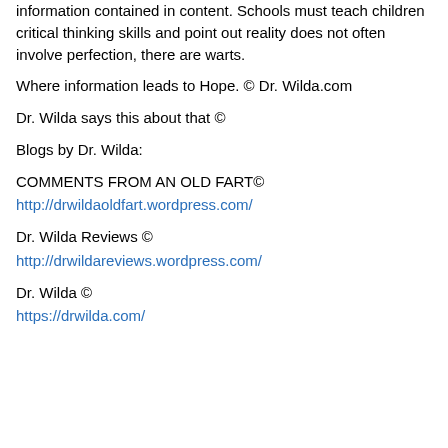information contained in content. Schools must teach children critical thinking skills and point out reality does not often involve perfection, there are warts.
Where information leads to Hope. © Dr. Wilda.com
Dr. Wilda says this about that ©
Blogs by Dr. Wilda:
COMMENTS FROM AN OLD FART©
http://drwildaoldfart.wordpress.com/
Dr. Wilda Reviews ©
http://drwildareviews.wordpress.com/
Dr. Wilda ©
https://drwilda.com/